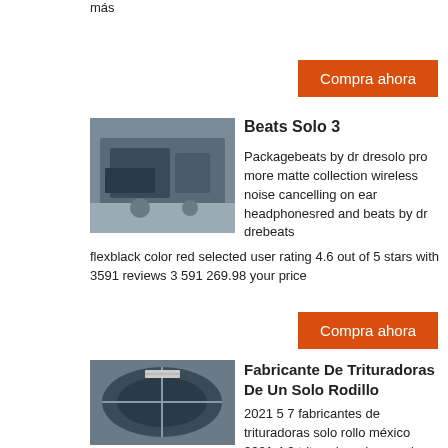más
Compra ahora
[Figure (photo): Industrial crushing machine in a factory setting, dark grey metal equipment]
Beats Solo 3
Packagebeats by dr dresolo pro more matte collection wireless noise cancelling on ear headphonesred and beats by dr drebeats flexblack color red selected user rating 4.6 out of 5 stars with 3591 reviews 3 591 269.98 your price
Compra ahora
[Figure (photo): Industrial circular machinery or rotary equipment viewed from above, dark interior with metal structure]
Fabricante De Trituradoras De Un Solo Rodillo
2021 5 7 fabricantes de trituradoras solo rollo méxico 2021 4 2 trituradora de un solo eje fabricante etw mexico la trituradora de un solo eje está especialmente diseñada para los materiales sólidos más exigentes como plásticos caucho papel madera residuos de aparatos eléctricos cables etc algunos de los productos triturados por estos equipos son materiales empleados